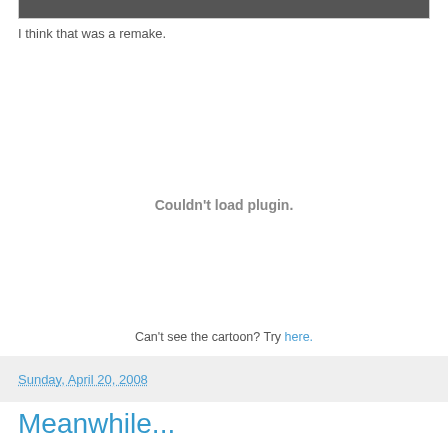[Figure (photo): Top portion of an image strip, partially visible at the top of the page]
I think that was a remake.
Couldn't load plugin.
Can't see the cartoon? Try here.
Sunday, April 20, 2008
Meanwhile...